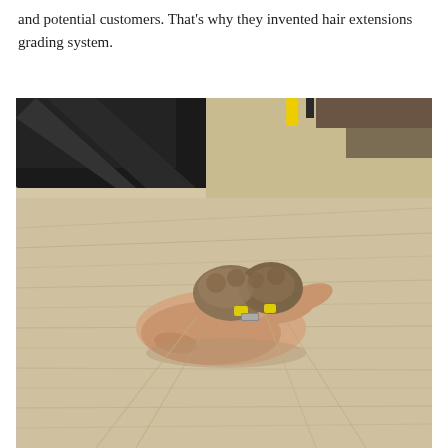and potential customers. That's why they invented hair extensions grading system.
[Figure (photo): A hand holding several bundles of hair extensions with yellow rubber band ties, showing blonde and dark hair against a light background.]